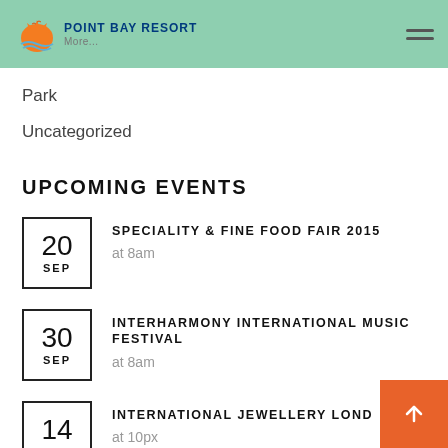Point Bay Resort
Park
Uncategorized
UPCOMING EVENTS
20 SEP — SPECIALITY & FINE FOOD FAIR 2015 at 8am
30 SEP — INTERHARMONY INTERNATIONAL MUSIC FESTIVAL at 8am
14 OCT — INTERNATIONAL JEWELLERY LONDON at 10px